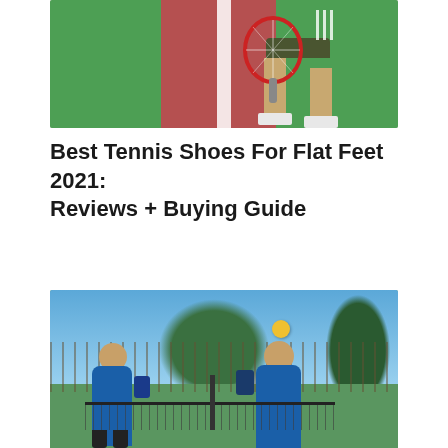[Figure (photo): Aerial/overhead view of a person playing tennis on a court with green and red surfaces, holding a red and white racket, wearing white shoes and dark shorts.]
Best Tennis Shoes For Flat Feet 2021: Reviews + Buying Guide
[Figure (photo): Two players playing pickleball on an outdoor court. One player on the left in blue shirt, one player on the right in blue shirt lunging to hit, with a yellow ball in the air. Trees in the background.]
Best Pickleball Shoes 2021: Reviews + Buying Guide